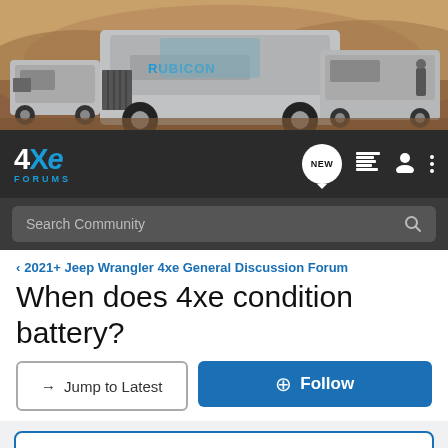[Figure (photo): Banner image showing three silver Jeep Wrangler 4xe vehicles in a desert rocky landscape]
4XE FORUMS navigation bar with logo, NEW badge, list icon, user icon, and menu icon
Search Community
< 2021+ Jeep Wrangler 4xe General Discussion Forum
When does 4xe condition battery?
→ Jump to Latest
+ Follow
Add Yours: Wrangler 4xe Owner's Registry | Grand Cherokee 4xe Owner's Registry